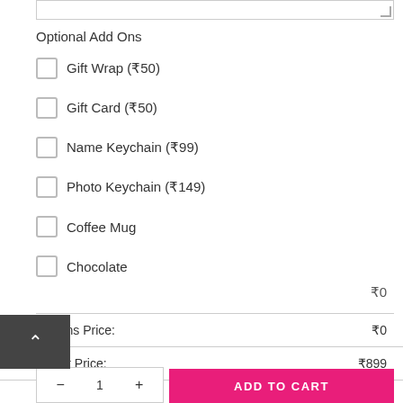Optional Add Ons
Gift Wrap (₹50)
Gift Card (₹50)
Name Keychain (₹99)
Photo Keychain (₹149)
Coffee Mug
Chocolate
₹0
|  |  |
| --- | --- |
| Options Price: | ₹0 |
| Product Price: | ₹899 |
| Total: | ₹899 |